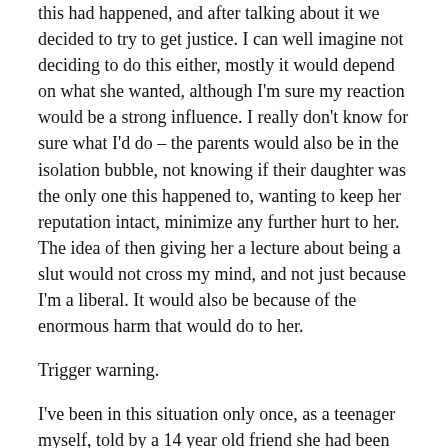this had happened, and after talking about it we decided to try to get justice. I can well imagine not deciding to do this either, mostly it would depend on what she wanted, although I'm sure my reaction would be a strong influence. I really don't know for sure what I'd do – the parents would also be in the isolation bubble, not knowing if their daughter was the only one this happened to, wanting to keep her reputation intact, minimize any further hurt to her. The idea of then giving her a lecture about being a slut would not cross my mind, and not just because I'm a liberal. It would also be because of the enormous harm that would do to her.
Trigger warning.
I've been in this situation only once, as a teenager myself, told by a 14 year old friend she had been raped in similar circumstances. She said she felt better immediately, having told someone. I don't really remember clearly what I said, I was shocked but sympathetic, and not blaming. The point was clear – she was unconscious and came to with a guy on top of her. I didn't need any more information to